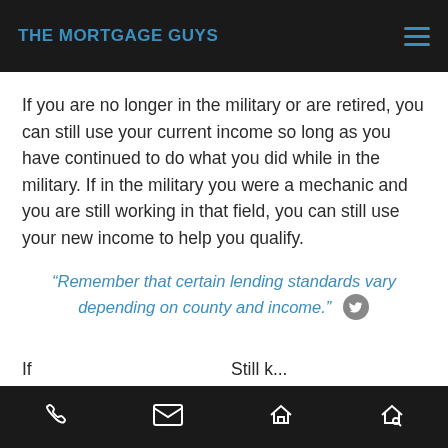THE MORTGAGE GUYS
If you are no longer in the military or are retired, you can still use your current income so long as you have continued to do what you did while in the military. If in the military you were a mechanic and you are still working in that field, you can still use your new income to help you qualify.
“Remember that certain lending standards vary depending on county and income.”
[phone] [mail] [home] [search-home]